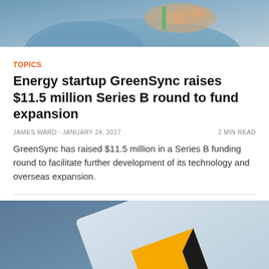[Figure (photo): Close-up photo of a person holding a green pen, wearing a light blue shirt, from upper portion of article listing]
TOPICS
Energy startup GreenSync raises $11.5 million Series B round to fund expansion
JAMES WARD · JANUARY 24, 2017    2 MIN READ
GreenSync has raised $11.5 million in a Series B funding round to facilitate further development of its technology and overseas expansion.
[Figure (photo): Photo of what appears to be a Commonwealth Bank sign/logo with yellow and black colors against a blue-grey background, partially cropped]